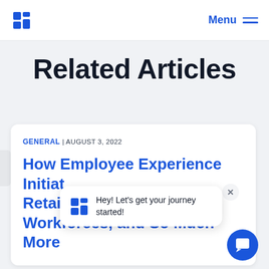Menu
Related Articles
GENERAL | AUGUST 3, 2022
How Employee Experience Initiatives Retain Workforces, and So Much More
Hey! Let's get your journey started!